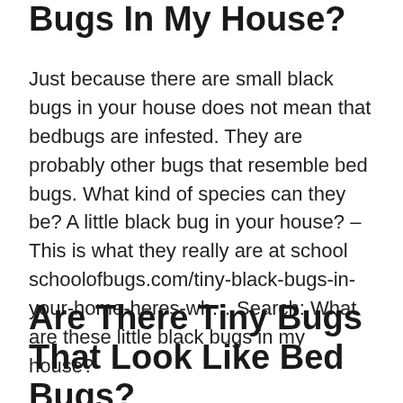Bugs In My House?
Just because there are small black bugs in your house does not mean that bedbugs are infested. They are probably other bugs that resemble bed bugs. What kind of species can they be? A little black bug in your house? – This is what they really are at school schoolofbugs.com/tiny-black-bugs-in-your-home-heres-wh… Search: What are these little black bugs in my house?
Are There Tiny Bugs That Look Like Bed Bugs?